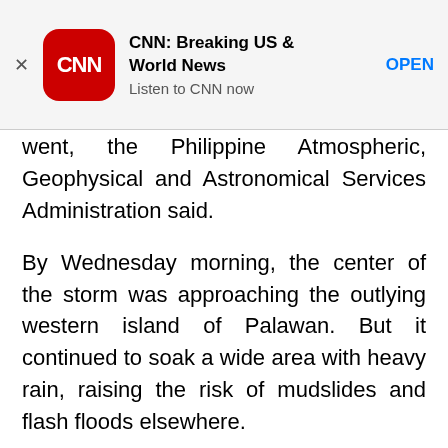[Figure (screenshot): CNN app advertisement banner with CNN logo (red rounded square with white CNN text), app name 'CNN: Breaking US & World News', subtitle 'Listen to CNN now', and blue OPEN button. An X close button is on the left.]
went, the Philippine Atmospheric, Geophysical and Astronomical Services Administration said.
By Wednesday morning, the center of the storm was approaching the outlying western island of Palawan. But it continued to soak a wide area with heavy rain, raising the risk of mudslides and flash floods elsewhere.
The storm, dubbed “Pablo” in the Philippines, had blown up into a super typhoon at one point Monday, with sustained winds greater than 240 kph – the equivalent of a Category 5 hurricane in the Atlantic Ocean, the Joint Typhoon Warning Center reported.
That wind speed is two and a half times the top